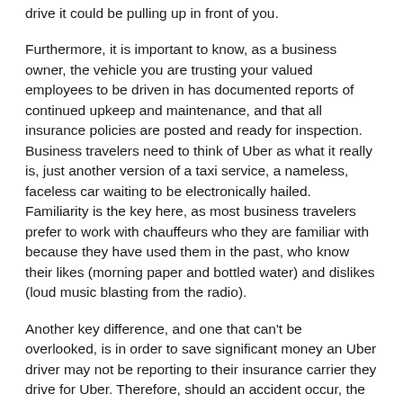drive it could be pulling up in front of you.
Furthermore, it is important to know, as a business owner, the vehicle you are trusting your valued employees to be driven in has documented reports of continued upkeep and maintenance, and that all insurance policies are posted and ready for inspection. Business travelers need to think of Uber as what it really is, just another version of a taxi service, a nameless, faceless car waiting to be electronically hailed. Familiarity is the key here, as most business travelers prefer to work with chauffeurs who they are familiar with because they have used them in the past, who know their likes (morning paper and bottled water) and dislikes (loud music blasting from the radio).
Another key difference, and one that can't be overlooked, is in order to save significant money an Uber driver may not be reporting to their insurance carrier they drive for Uber. Therefore, should an accident occur, the Uber driver may not have the proper insurance coverage. On the other hand, most limousine companies will have a million-dollar policy in place per accident.
Yes, Uber has developed a demographic niche. Maybe it's a young couple heading home from a restaurant, or a small group heading out at closing time when driving their car is not a wise option. But executives often look at other factors when choosing